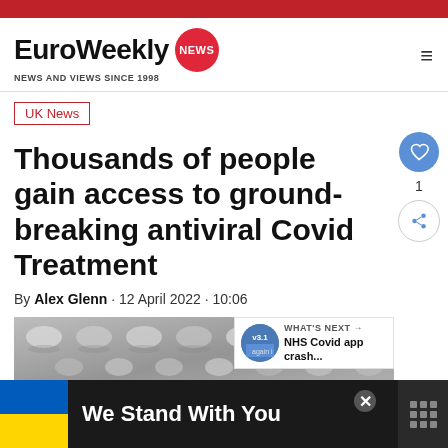EuroWeekly NEWS · NEWS AND VIEWS SINCE 1998
UK News
Thousands of people gain access to ground-breaking antiviral Covid Treatment
By Alex Glenn · 12 April 2022 · 10:06
[Figure (photo): Close-up photograph of pill blister packs in greyscale]
WHAT'S NEXT → NHS Covid app crash...
We Stand With You